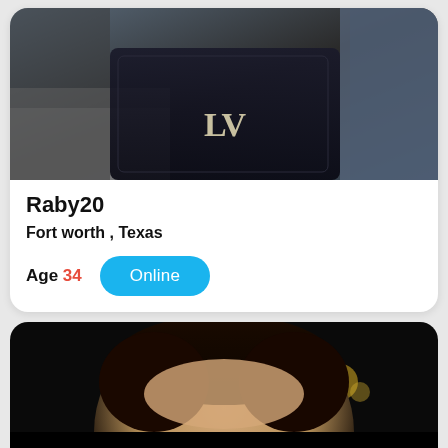[Figure (photo): Person holding a dark Louis Vuitton bag, wearing denim jacket, close-up shot]
Raby20
Fort worth , Texas
Age 34  Online
[Figure (photo): Close-up of a person's face with curly hair in dark background with a close/X button overlay]